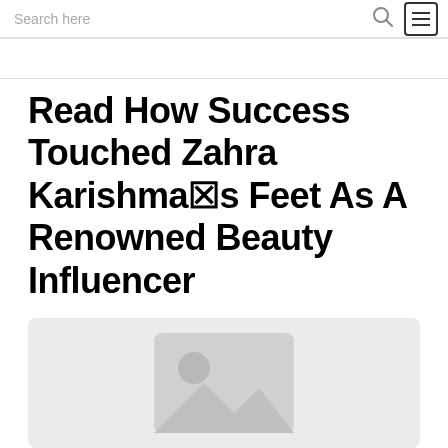Search here
Read How Success Touched Zahra Karishma✗s Feet As A Renowned Beauty Influencer
[Figure (illustration): Image placeholder graphic with a grey background and a mountain/photo icon in the center]